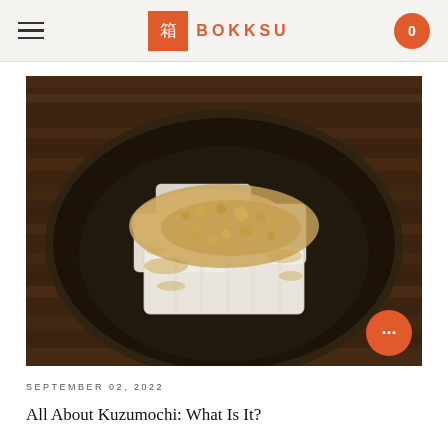箱 BOKKSU
[Figure (photo): Kuzumochi pieces dusted with kinako (roasted soybean flour) arranged on a dark ceramic plate, set on a wooden surface]
SEPTEMBER 02, 2022
All About Kuzumochi: What Is It?